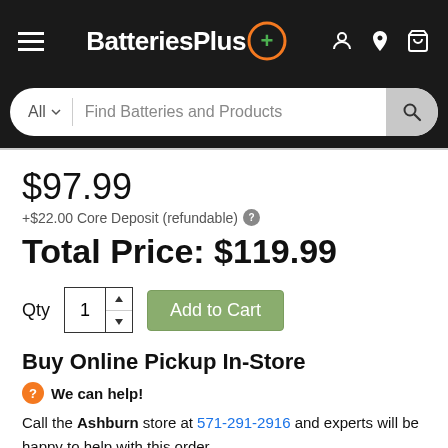BatteriesPlus — navigation bar with hamburger menu, logo, and icons
All ∨  Find Batteries and Products
$97.99
+$22.00 Core Deposit (refundable)
Total Price: $119.99
Qty  1  Add to Cart
Buy Online Pickup In-Store
We can help!
Call the Ashburn store at 571-291-2916 and experts will be happy to help with this order.